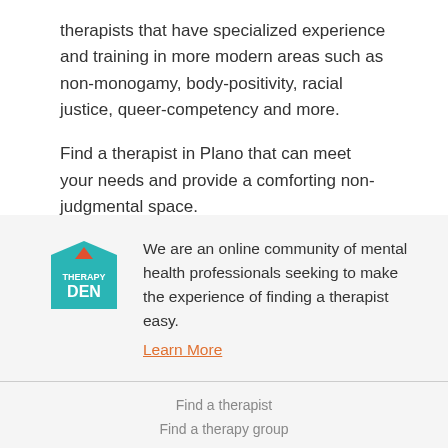therapists that have specialized experience and training in more modern areas such as non-monogamy, body-positivity, racial justice, queer-competency and more.
Find a therapist in Plano that can meet your needs and provide a comforting non-judgmental space.
[Figure (logo): Therapy Den logo: teal house/tag shape with a red triangle roof, text 'THERAPY DEN' in white]
We are an online community of mental health professionals seeking to make the experience of finding a therapist easy.
Learn More
Find a therapist
Find a therapy group